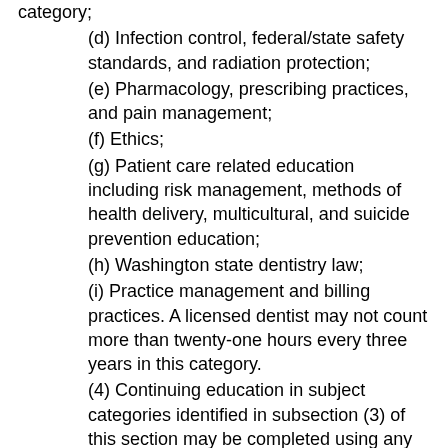category;
(d) Infection control, federal/state safety standards, and radiation protection;
(e) Pharmacology, prescribing practices, and pain management;
(f) Ethics;
(g) Patient care related education including risk management, methods of health delivery, multicultural, and suicide prevention education;
(h) Washington state dentistry law;
(i) Practice management and billing practices. A licensed dentist may not count more than twenty-one hours every three years in this category.
(4) Continuing education in subject categories identified in subsection (3) of this section may be completed using any of the following activities or methods:
(a) Attendance at local, state, national, or international continuing education courses, live interactive webinars, dental study clubs, postdoctoral education, and dental residencies;
(b) Self-study by various means, relevant to